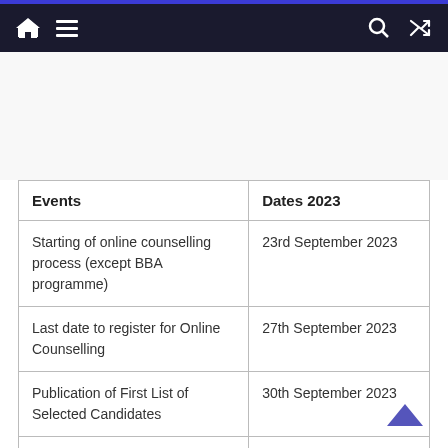Navigation bar with home, menu, search, and shuffle icons
| Events | Dates 2023 |
| --- | --- |
| Starting of online counselling process (except BBA programme) | 23rd September 2023 |
| Last date to register for Online Counselling | 27th September 2023 |
| Publication of First List of Selected Candidates | 30th September 2023 |
| Deadline for Online | 3rd October |